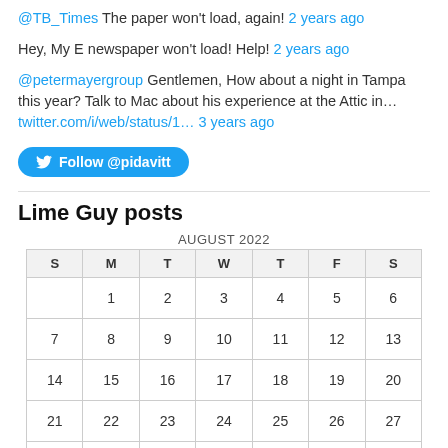@TB_Times The paper won't load, again! 2 years ago
Hey, My E newspaper won't load! Help! 2 years ago
@petermayergroup Gentlemen, How about a night in Tampa this year? Talk to Mac about his experience at the Attic in… twitter.com/i/web/status/1… 3 years ago
Follow @pidavitt
Lime Guy posts
| S | M | T | W | T | F | S |
| --- | --- | --- | --- | --- | --- | --- |
|  | 1 | 2 | 3 | 4 | 5 | 6 |
| 7 | 8 | 9 | 10 | 11 | 12 | 13 |
| 14 | 15 | 16 | 17 | 18 | 19 | 20 |
| 21 | 22 | 23 | 24 | 25 | 26 | 27 |
| 28 | 29 | 30 | 31 |  |  |  |